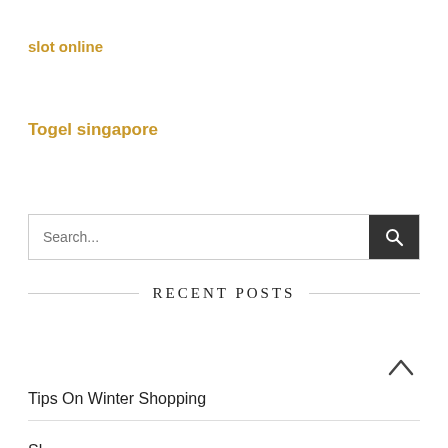slot online
Togel singapore
RECENT POSTS
Online Casino Games – Which is the Best One For You?
Tips On Winter Shopping
(partial text cut off)